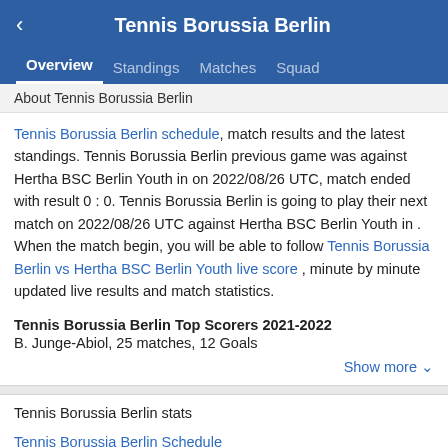Tennis Borussia Berlin
Overview | Standings | Matches | Squad
About Tennis Borussia Berlin
Tennis Borussia Berlin schedule, match results and the latest standings. Tennis Borussia Berlin previous game was against Hertha BSC Berlin Youth in on 2022/08/26 UTC, match ended with result 0 : 0. Tennis Borussia Berlin is going to play their next match on 2022/08/26 UTC against Hertha BSC Berlin Youth in . When the match begin, you will be able to follow Tennis Borussia Berlin vs Hertha BSC Berlin Youth live score , minute by minute updated live results and match statistics.
Tennis Borussia Berlin Top Scorers 2021-2022
B. Junge-Abiol, 25 matches, 12 Goals
Show more
Tennis Borussia Berlin stats
Tennis Borussia Berlin Schedule